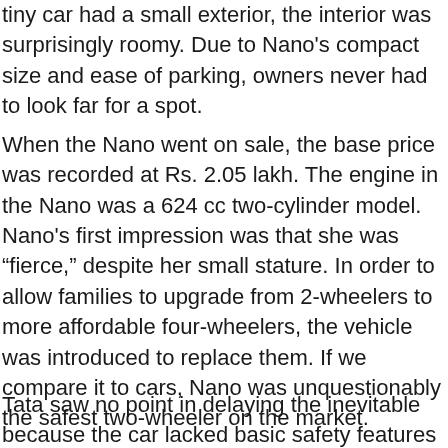tiny car had a small exterior, the interior was surprisingly roomy. Due to Nano's compact size and ease of parking, owners never had to look far for a spot.
When the Nano went on sale, the base price was recorded at Rs. 2.05 lakh. The engine in the Nano was a 624 cc two-cylinder model. Nano's first impression was that she was “fierce,” despite her small stature. In order to allow families to upgrade from 2-wheelers to more affordable four-wheelers, the vehicle was introduced to replace them. If we compare it to cars, Nano was unquestionably the safest two-wheeler on the market.
Tata saw no point in delaying the inevitable because the car lacked basic safety features and had received